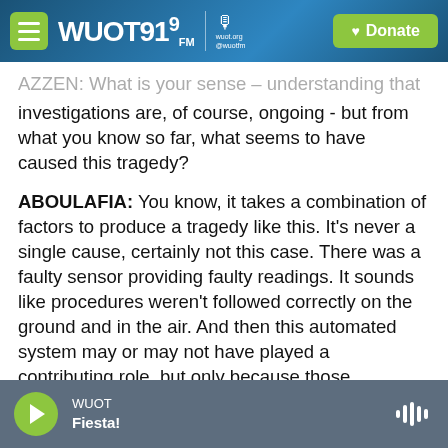[Figure (screenshot): WUOT 91.9 FM radio station website header with green menu button, WUOT 91.9 FM logo, microphone icon, and green Donate button on blue gradient background]
AZZEN: What is your sense – understanding that investigations are, of course, ongoing - but from what you know so far, what seems to have caused this tragedy?
ABOULAFIA: You know, it takes a combination of factors to produce a tragedy like this. It's never a single cause, certainly not this case. There was a faulty sensor providing faulty readings. It sounds like procedures weren't followed correctly on the ground and in the air. And then this automated system may or may not have played a contributing role, but only because those procedures weren't followed.
WUOT Fiesta!